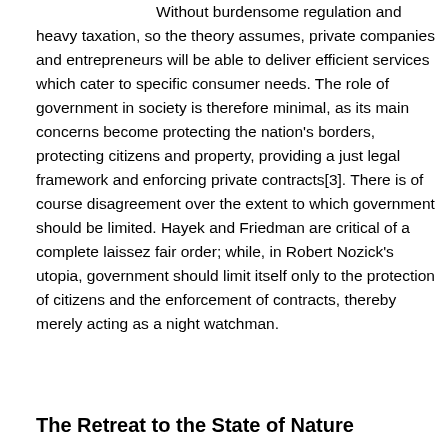Without burdensome regulation and heavy taxation, so the theory assumes, private companies and entrepreneurs will be able to deliver efficient services which cater to specific consumer needs. The role of government in society is therefore minimal, as its main concerns become protecting the nation's borders, protecting citizens and property, providing a just legal framework and enforcing private contracts[3]. There is of course disagreement over the extent to which government should be limited. Hayek and Friedman are critical of a complete laissez fair order; while, in Robert Nozick's utopia, government should limit itself only to the protection of citizens and the enforcement of contracts, thereby merely acting as a night watchman.
The Retreat to the State of Nature